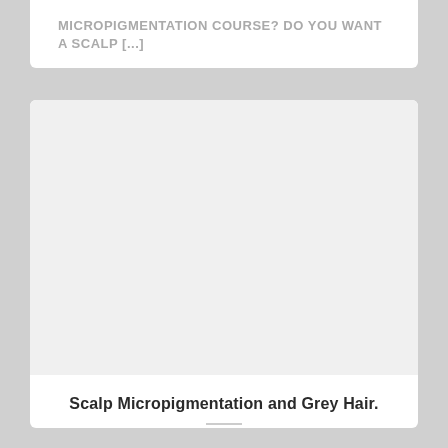MICROPIGMENTATION COURSE? DO YOU WANT A SCALP [...]
[Figure (photo): Large light grey placeholder image area for a blog post card about Scalp Micropigmentation and Grey Hair]
Scalp Micropigmentation and Grey Hair.
How does the SMP Treatment work with Grey Hair? If you are wondering how Scalp Micropigmentation [...]